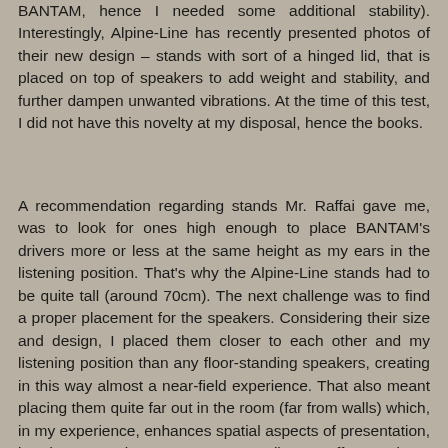BANTAM, hence I needed some additional stability). Interestingly, Alpine-Line has recently presented photos of their new design – stands with sort of a hinged lid, that is placed on top of speakers to add weight and stability, and further dampen unwanted vibrations. At the time of this test, I did not have this novelty at my disposal, hence the books.
A recommendation regarding stands Mr. Raffai gave me, was to look for ones high enough to place BANTAM's drivers more or less at the same height as my ears in the listening position. That's why the Alpine-Line stands had to be quite tall (around 70cm). The next challenge was to find a proper placement for the speakers. Considering their size and design, I placed them closer to each other and my listening position than any floor-standing speakers, creating in this way almost a near-field experience. That also meant placing them quite far out in the room (far from walls) which, in my experience, enhances spatial aspects of presentation, but decreases the support room's walls may offer speakers, particularly in the bass range. I also toed them gently in. It took a while to find an optimum distance and